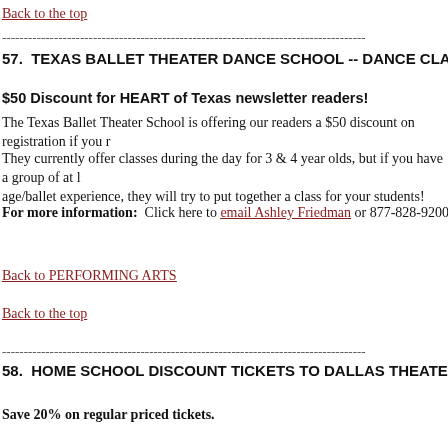Back to the top
------------------------------------------------------------------------------------
57.  TEXAS BALLET THEATER DANCE SCHOOL -- DANCE CLASSES -- FORT W...
$50 Discount for HEART of Texas newsletter readers!
The Texas Ballet Theater School is offering our readers a $50 discount on registration if you r...
They currently offer classes during the day for 3 & 4 year olds, but if you have a group of at l... age/ballet experience, they will try to put together a class for your students!
For more information:  Click here to email Ashley Friedman or 877-828-9200, ext 108
Back to PERFORMING ARTS
Back to the top
------------------------------------------------------------------------------------
58.  HOME SCHOOL DISCOUNT TICKETS TO DALLAS THEATER PERFORMAN...
Save 20% on regular priced tickets.